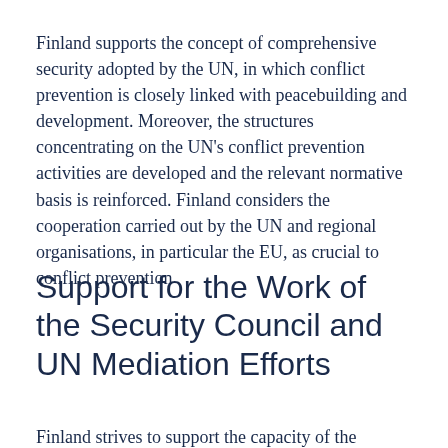Finland supports the concept of comprehensive security adopted by the UN, in which conflict prevention is closely linked with peacebuilding and development. Moreover, the structures concentrating on the UN's conflict prevention activities are developed and the relevant normative basis is reinforced. Finland considers the cooperation carried out by the UN and regional organisations, in particular the EU, as crucial to conflict prevention
Support for the Work of the Security Council and UN Mediation Efforts
Finland strives to support the capacity of the Security...